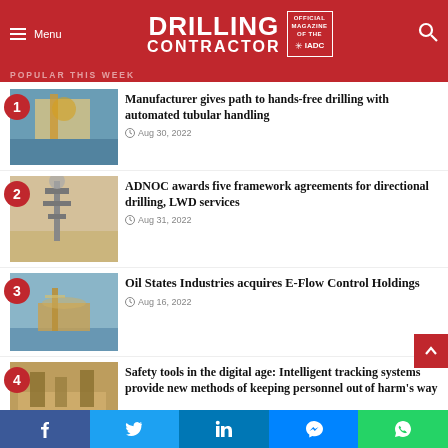Drilling Contractor – Official Magazine of the IADC
POPULAR THIS WEEK
1. Manufacturer gives path to hands-free drilling with automated tubular handling – Aug 30, 2022
2. ADNOC awards five framework agreements for directional drilling, LWD services – Aug 31, 2022
3. Oil States Industries acquires E-Flow Control Holdings – Aug 16, 2022
4. Safety tools in the digital age: Intelligent tracking systems provide new methods of keeping personnel out of harm's way